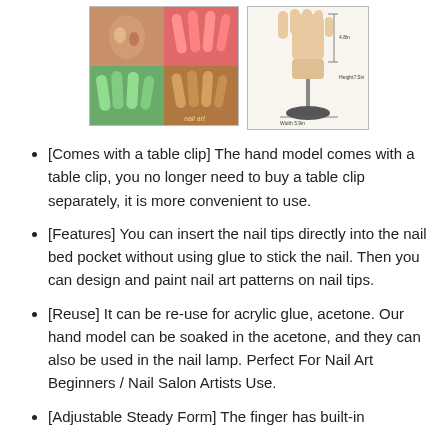[Figure (photo): Collage of nail art photos showing various nail designs in pink, green, and gold, alongside a diagram of a practice hand model on a stand with measurements.]
[Comes with a table clip] The hand model comes with a table clip, you no longer need to buy a table clip separately, it is more convenient to use.
[Features] You can insert the nail tips directly into the nail bed pocket without using glue to stick the nail. Then you can design and paint nail art patterns on nail tips.
[Reuse] It can be re-use for acrylic glue, acetone. Our hand model can be soaked in the acetone, and they can also be used in the nail lamp. Perfect For Nail Art Beginners / Nail Salon Artists Use.
[Adjustable Steady Form] The finger has built-in